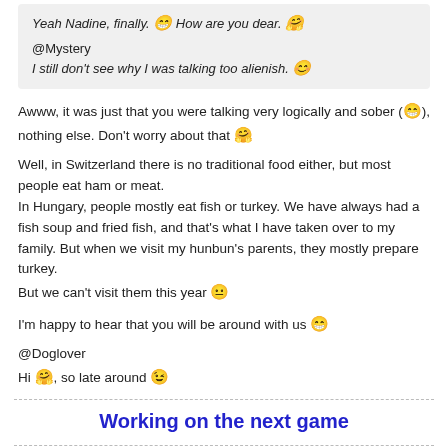Yeah Nadine, finally. 😁 How are you dear. 🤗
@Mystery
I still don't see why I was talking too alienish. 😊
Awww, it was just that you were talking very logically and sober (😁), nothing else. Don't worry about that 🤗
Well, in Switzerland there is no traditional food either, but most people eat ham or meat.
In Hungary, people mostly eat fish or turkey. We have always had a fish soup and fried fish, and that's what I have taken over to my family. But when we visit my hunbun's parents, they mostly prepare turkey.
But we can't visit them this year 😐
I'm happy to hear that you will be around with us 😁
@Doglover
Hi 🤗, so late around 😉
Working on the next game